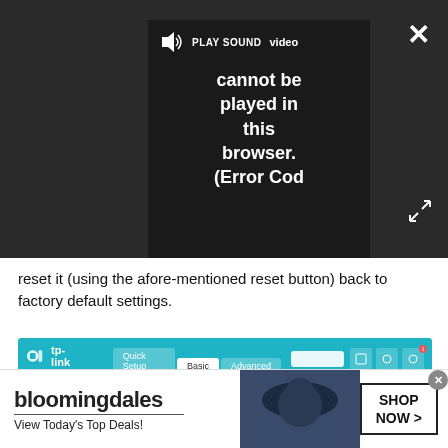[Figure (screenshot): Video player overlay on dark background showing 'PLAY SOUND' button and error message: 'video cannot be played in this browser. (Error Cod' with close X button and expand button]
reset it (using the afore-mentioned reset button) back to factory default settings.
[Figure (screenshot): TP-Link router admin interface screenshot showing Network Map with Internet, Archer AX50, Wired Clients (with badge), Wireless Clients (with badge), and USB Disk icons on teal/white background]
[Figure (screenshot): Bloomingdales advertisement banner: 'bloomingdales - View Today's Top Deals!' with SHOP NOW > button and woman in hat photo]